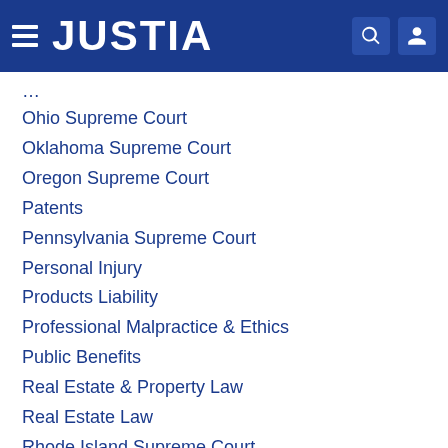JUSTIA
Ohio Supreme Court
Oklahoma Supreme Court
Oregon Supreme Court
Patents
Pennsylvania Supreme Court
Personal Injury
Products Liability
Professional Malpractice & Ethics
Public Benefits
Real Estate & Property Law
Real Estate Law
Rhode Island Supreme Court
Securities Law
South Carolina Supreme Court
South Dakota Supreme Court
Supreme Court of Alabama
Supreme Court of Appeals of West Virginia
Supreme Court of California
Supreme Court of Georgia